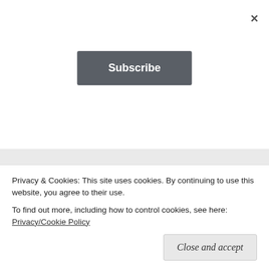×
Subscribe
be. (But don't get me wrong – there are days I'm so tired my EYELASHES hurt. And these are the norm!)
★ Liked by 1 person
Reply
Privacy & Cookies: This site uses cookies. By continuing to use this website, you agree to their use.
To find out more, including how to control cookies, see here: Privacy/Cookie Policy
Close and accept